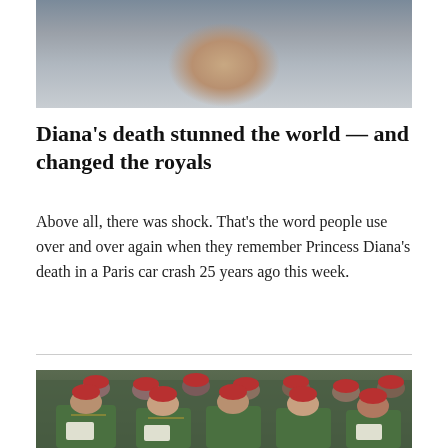[Figure (photo): Partial photo of a person, cropped at the top of the page, showing neck and dark clothing against a blurred background]
Diana's death stunned the world — and changed the royals
Above all, there was shock. That's the word people use over and over again when they remember Princess Diana's death in a Paris car crash 25 years ago this week.
[Figure (photo): Photo of Catholic cardinals wearing red caps and green vestments, gathered in a church setting, reading from papers]